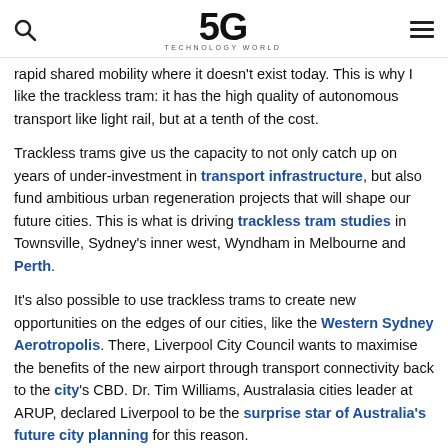5G Technology World
rapid shared mobility where it doesn't exist today. This is why I like the trackless tram: it has the high quality of autonomous transport like light rail, but at a tenth of the cost.
Trackless trams give us the capacity to not only catch up on years of under-investment in transport infrastructure, but also fund ambitious urban regeneration projects that will shape our future cities. This is what is driving trackless tram studies in Townsville, Sydney's inner west, Wyndham in Melbourne and Perth.
It's also possible to use trackless trams to create new opportunities on the edges of our cities, like the Western Sydney Aerotropolis. There, Liverpool City Council wants to maximise the benefits of the new airport through transport connectivity back to the city's CBD. Dr. Tim Williams, Australasia cities leader at ARUP, declared Liverpool to be the surprise star of Australia's future city planning for this reason.